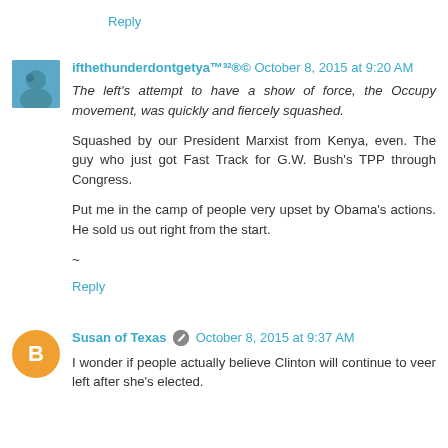Reply
ifthethunderdontgetya™³²®© October 8, 2015 at 9:20 AM
The left's attempt to have a show of force, the Occupy movement, was quickly and fiercely squashed.
Squashed by our President Marxist from Kenya, even. The guy who just got Fast Track for G.W. Bush's TPP through Congress.
Put me in the camp of people very upset by Obama's actions. He sold us out right from the start.
~
Reply
Susan of Texas October 8, 2015 at 9:37 AM
I wonder if people actually believe Clinton will continue to veer left after she's elected.